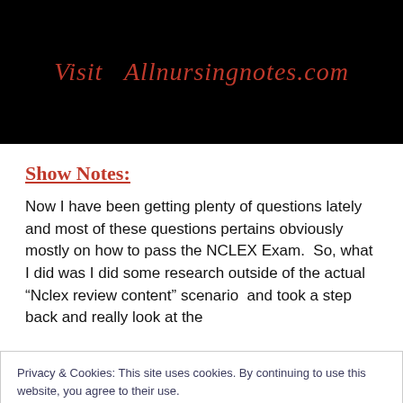[Figure (other): Black banner with red italic text reading 'Visit Allnursingnotes.com']
Show Notes:
Now I have been getting plenty of questions lately and most of these questions pertains obviously mostly on how to pass the NCLEX Exam.  So, what I did was I did some research outside of the actual “Nclex review content” scenario  and took a step back and really look at the
Privacy & Cookies: This site uses cookies. By continuing to use this website, you agree to their use.
To find out more, including how to control cookies, see here: Cookie Policy
me ask you this, have you noticed how some people are